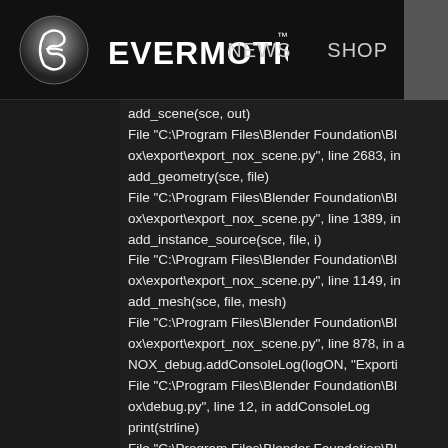[Figure (logo): Evermotion logo with circular swirl icon and bold white EVERMOTION text with TM mark]
NEWS    SHOP
add_scene(sce, out)
File "C:\Program Files\Blender Foundation\Bl
ox\export\export_nox_scene.py", line 2683, in
add_geometry(sce, file)
File "C:\Program Files\Blender Foundation\Bl
ox\export\export_nox_scene.py", line 1389, in
add_instance_source(sce, file, i)
File "C:\Program Files\Blender Foundation\Bl
ox\export\export_nox_scene.py", line 1149, in
add_mesh(sce, file, mesh)
File "C:\Program Files\Blender Foundation\Bl
ox\export\export_nox_scene.py", line 878, in a
NOX_debug.addConsoleLog(logON, "Exporti
File "C:\Program Files\Blender Foundation\Bl
ox\debug.py", line 12, in addConsoleLog
print(strline)
File "C:\Program Files\Blender Foundation\Bl
852.py", line 19, in encode
return codecs.charmap_encode(input,self.err
UnicodeEncodeError: 'charmap' codec can't e
21: character maps to <undefined>